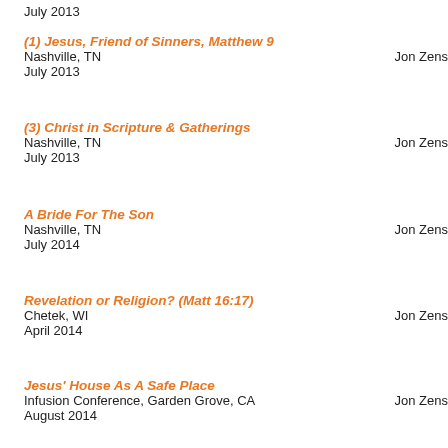July 2013
(1) Jesus, Friend of Sinners, Matthew 9 | Nashville, TN | Jon Zens | July 2013
(3) Christ in Scripture & Gatherings | Nashville, TN | Jon Zens | July 2013
A Bride For The Son | Nashville, TN | Jon Zens | July 2014
Revelation or Religion? (Matt 16:17) | Chetek, WI | Jon Zens | April 2014
Jesus' House As A Safe Place | Infusion Conference, Garden Grove, CA | Jon Zens | August 2014